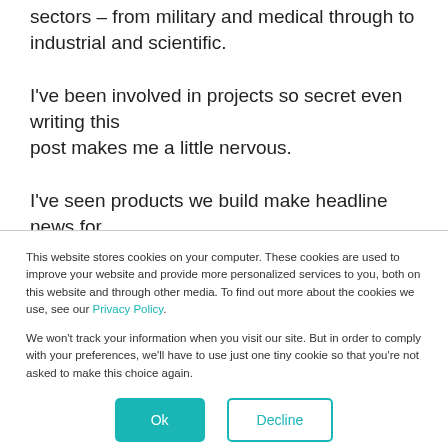sectors – from military and medical through to industrial and scientific.
I've been involved in projects so secret even writing this post makes me a little nervous.
I've seen products we build make headline news for
This website stores cookies on your computer. These cookies are used to improve your website and provide more personalized services to you, both on this website and through other media. To find out more about the cookies we use, see our Privacy Policy.

We won't track your information when you visit our site. But in order to comply with your preferences, we'll have to use just one tiny cookie so that you're not asked to make this choice again.